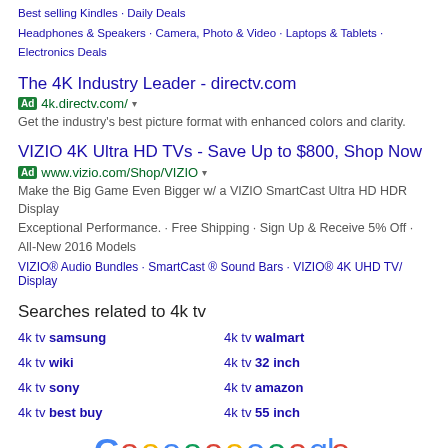Best selling Kindles · Daily Deals
Headphones & Speakers · Camera, Photo & Video · Laptops & Tablets · Electronics Deals
The 4K Industry Leader - directv.com
Ad 4k.directv.com/ ▾
Get the industry's best picture format with enhanced colors and clarity.
VIZIO 4K Ultra HD TVs - Save Up to $800, Shop Now
Ad www.vizio.com/Shop/VIZIO ▾
Make the Big Game Even Bigger w/ a VIZIO SmartCast Ultra HD HDR Display
Exceptional Performance. · Free Shipping · Sign Up & Receive 5% Off · All-New 2016 Models
VIZIO® Audio Bundles · SmartCast ® Sound Bars · VIZIO® 4K UHD TV/ Display
Searches related to 4k tv
4k tv samsung
4k tv walmart
4k tv wiki
4k tv 32 inch
4k tv sony
4k tv amazon
4k tv best buy
4k tv 55 inch
[Figure (other): Google pagination with colored logo text Goooooooooooogle and page numbers 1 2 3 4 5 6 7 8 9 10 Next]
Valentine's Day Flowers - Costco
https://www.costco.com/floral-seasonal.html ▾
Valentine's Day Flowers at Costco. ... Pre-Order 24 Stem Valentine's Day Hot Pink Scented Garden Roses. Sign In For Price. $59.99. Pre-Order 24 Stem ...
Pre-Order Valentines Day Roses - Don't Wait Til The Last Minute
Ad www.proflowers.com/